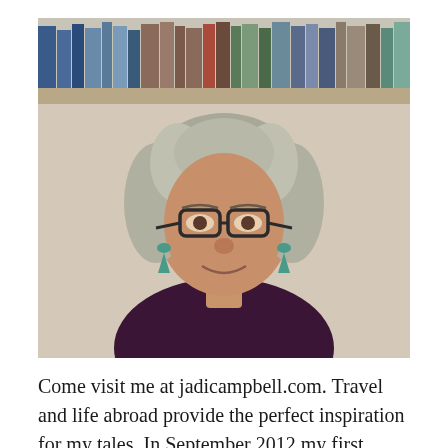[Figure (photo): Portrait photo of a middle-aged woman with curly gray hair, glasses, teal drop earrings, and a dark purple top, seated in front of a bookshelf.]
Come visit me at jadicampbell.com. Travel and life abroad provide the perfect inspiration for my tales. In September 2012 my first novel Broken In: A Novel in Stories appeared. It was a